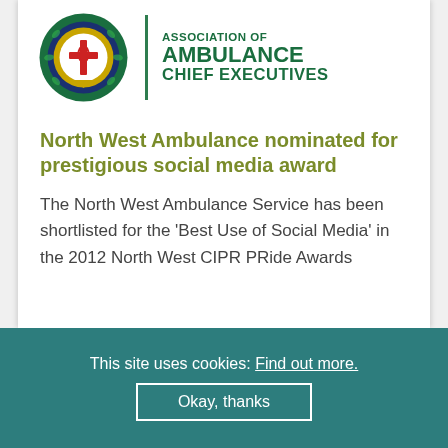[Figure (logo): Association of Ambulance Chief Executives logo with emblem and vertical divider, organization name in green text]
North West Ambulance nominated for prestigious social media award
The North West Ambulance Service has been shortlisted for the 'Best Use of Social Media' in the 2012 North West CIPR PRide Awards
This site uses cookies: Find out more. Okay, thanks